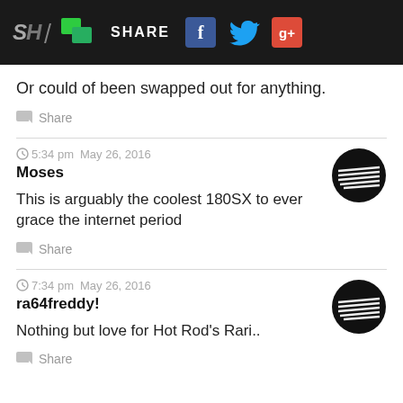SH | SHARE [Facebook] [Twitter] [Google+]
Or could of been swapped out for anything.
Share
5:34 pm  May 26, 2016
Moses
This is arguably the coolest 180SX to ever grace the internet period
Share
7:34 pm  May 26, 2016
ra64freddy!
Nothing but love for Hot Rod's Rari..
Share